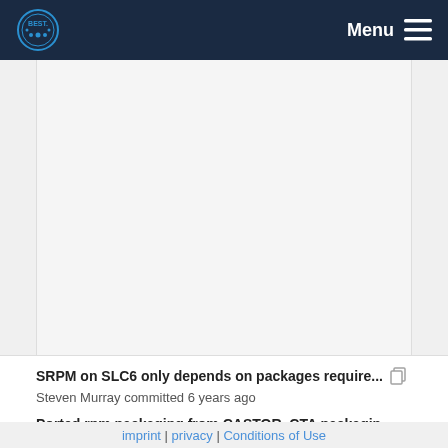Menu
[Figure (other): Large blank/whitespace content area below navigation header]
SRPM on SLC6 only depends on packages require... Steven Murray committed 6 years ago
Ported rpm packaging from CASTOR. CTA packagin... Eric Cano committed 6 years ago
imprint | privacy | Conditions of Use